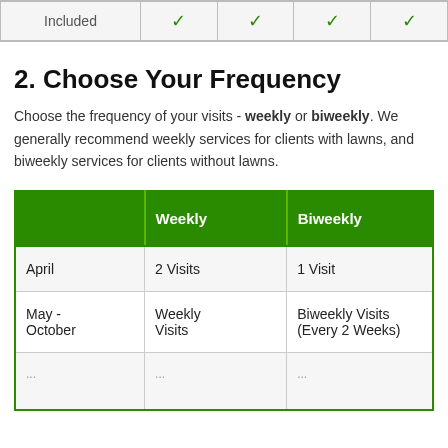|  |  |  |  |  |
| --- | --- | --- | --- | --- |
| Included | ✓ | ✓ | ✓ | ✓ |
2. Choose Your Frequency
Choose the frequency of your visits - weekly or biweekly. We generally recommend weekly services for clients with lawns, and biweekly services for clients without lawns.
|  | Weekly | Biweekly |
| --- | --- | --- |
| April | 2 Visits | 1 Visit |
| May - October | Weekly Visits | Biweekly Visits (Every 2 Weeks) |
| ... | ... | ... |